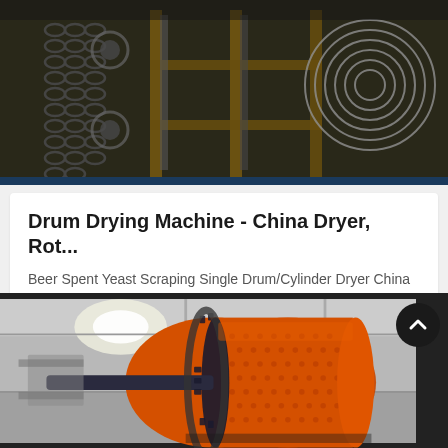[Figure (photo): Close-up photo of industrial machinery components including chains, gears and metal parts with a dark olive/brown framework and metallic elements]
Drum Drying Machine - China Dryer, Rot...
Beer Spent Yeast Scraping Single Drum/Cylinder Dryer China Top Manufacturer. FOB Price: $12800 - $35800 / Set. Min. Order: 1 Set. Product Description The yeast dryer is a kind ...
[Figure (photo): Photo of a large orange rotary drum dryer machine in an industrial warehouse setting, showing the perforated cylindrical drum with gear teeth visible]